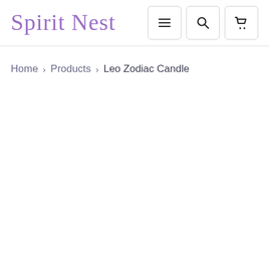Spirit Nest
Home > Products > Leo Zodiac Candle